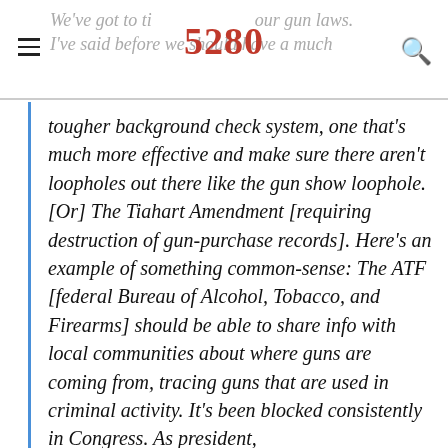We've got to tighten our gun laws. I've said before we should have a much
tougher background check system, one that's much more effective and make sure there aren't loopholes out there like the gun show loophole. [Or] The Tiahart Amendment [requiring destruction of gun-purchase records]. Here's an example of something common-sense: The ATF [federal Bureau of Alcohol, Tobacco, and Firearms] should be able to share info with local communities about where guns are coming from, tracing guns that are used in criminal activity. It's been blocked consistently in Congress. As president,